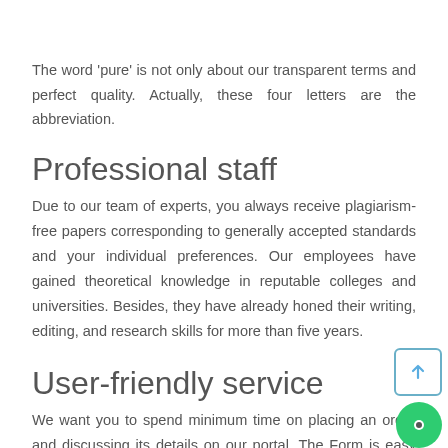The word 'pure' is not only about our transparent terms and perfect quality. Actually, these four letters are the abbreviation.
Professional staff
Due to our team of experts, you always receive plagiarism-free papers corresponding to generally accepted standards and your individual preferences. Our employees have gained theoretical knowledge in reputable colleges and universities. Besides, they have already honed their writing, editing, and research skills for more than five years.
User-friendly service
We want you to spend minimum time on placing an order and discussing its details on our portal. The Form is easy and convenient, and the chat is online day and night.